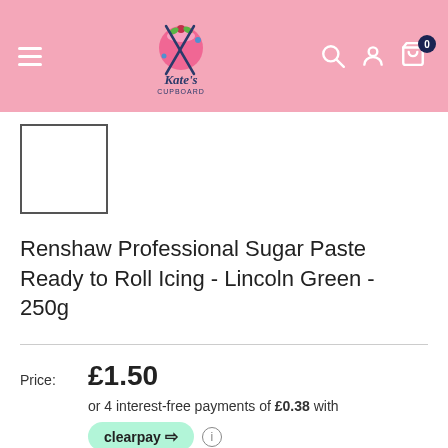Kate's Cupboard - navigation header with logo, hamburger menu, search, account, and cart icons
[Figure (photo): Small product thumbnail image placeholder, white square with dark border]
Renshaw Professional Sugar Paste Ready to Roll Icing - Lincoln Green - 250g
Price: £1.50
or 4 interest-free payments of £0.38 with
clearpay